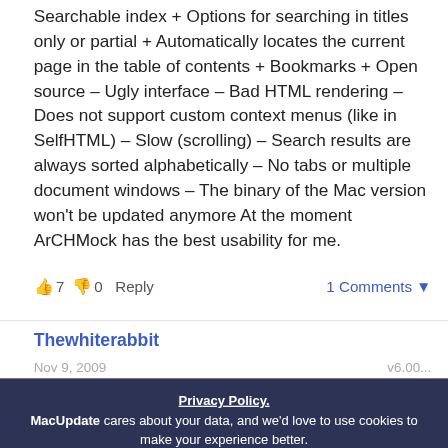Searchable index + Options for searching in titles only or partial + Automatically locates the current page in the table of contents + Bookmarks + Open source – Ugly interface – Bad HTML rendering – Does not support custom context menus (like in SelfHTML) – Slow (scrolling) – Search results are always sorted alphabetically – No tabs or multiple document windows – The binary of the Mac version won't be updated anymore At the moment ArCHMock has the best usability for me.
👍 7 👎 0   Reply   1 Comments ▾
Thewhiterabbit
Nov 9, 2009 ... v6.00...
Unfortunately, I no longer have access to the MacMini machine I've been connecting to build
Privacy Policy. MacUpdate cares about your data, and we'd love to use cookies to make your experience better.